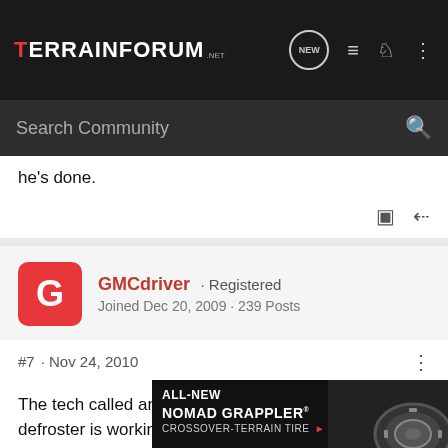TerrainForum.net
he's done.
GMCdriver · Registered
Joined Dec 20, 2009 · 239 Posts
#7 · Nov 24, 2010
The tech called and said he finished the job & the defroster is working again.
He said he would go over what the problem was with me when I pick up the vehicle which I'm going to do as soon as my daughter
[Figure (other): Advertisement banner for Nitto ALL-NEW NOMAD GRAPPLER CROSSOVER-TERRAIN TIRE with tire image]